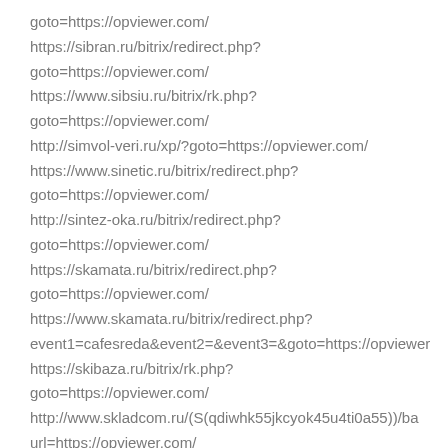goto=https://opviewer.com/
https://sibran.ru/bitrix/redirect.php?
goto=https://opviewer.com/
https://www.sibsiu.ru/bitrix/rk.php?
goto=https://opviewer.com/
http://simvol-veri.ru/xp/?goto=https://opviewer.com/
https://www.sinetic.ru/bitrix/redirect.php?
goto=https://opviewer.com/
http://sintez-oka.ru/bitrix/redirect.php?
goto=https://opviewer.com/
https://skamata.ru/bitrix/redirect.php?
goto=https://opviewer.com/
https://www.skamata.ru/bitrix/redirect.php?
event1=cafesreda&event2=&event3=&goto=https://opviewer
https://skibaza.ru/bitrix/rk.php?
goto=https://opviewer.com/
http://www.skladcom.ru/(S(qdiwhk55jkcyok45u4ti0a55))/ba
url=https://opviewer.com/